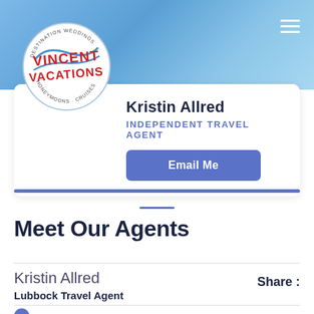[Figure (logo): Vincent Vacations circular logo with red text and blue wave, destination weddings honeymoons cruises]
Kristin Allred
INDEPENDENT TRAVEL AGENT
Email Me
Meet Our Agents
Kristin Allred
Lubbock Travel Agent
Share :